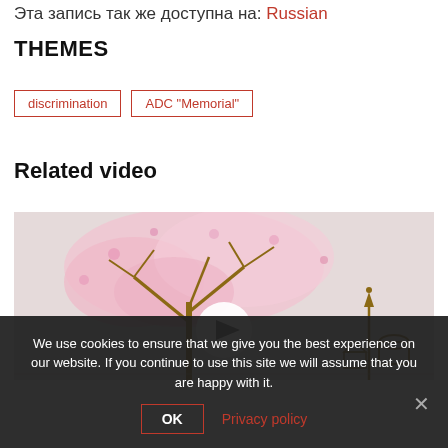Эта запись так же доступна на: Russian
THEMES
discrimination
ADC "Memorial"
Related video
[Figure (illustration): Illustration of a cherry blossom tree with pink flowers and golden-brown branches, with a small village scene in the background on the right side. A white play button circle is visible in the center.]
We use cookies to ensure that we give you the best experience on our website. If you continue to use this site we will assume that you are happy with it.
OK    Privacy policy